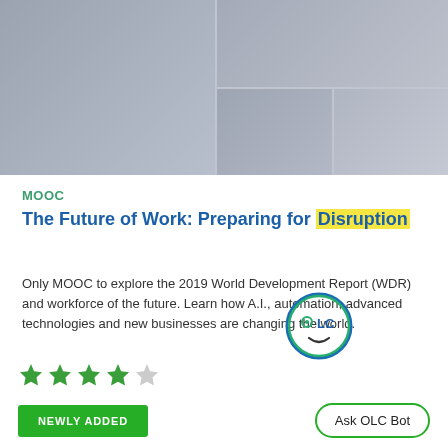[Figure (photo): Collage of event/conference photos showing people in professional settings]
MOOC
The Future of Work: Preparing for Disruption
Only MOOC to explore the 2019 World Development Report (WDR) and workforce of the future. Learn how A.I., automation, advanced technologies and new businesses are changing the world.
[Figure (other): 4 out of 5 green star rating]
[Figure (logo): OLC Bot circular logo with face icon]
NEWLY ADDED
Ask OLC Bot